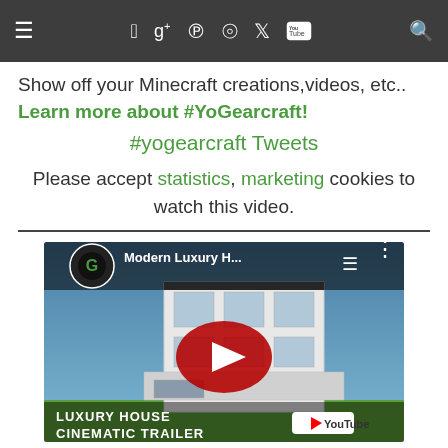Navigation bar with hamburger menu, social icons (Facebook, Google+, Pinterest, RSS, Twitter, YouTube) and search
Show off your Minecraft creations,videos, etc.. Learn more about #YoGearcraft!
#yogearcraft Tweets
Please accept statistics, marketing cookies to watch this video.
[Figure (screenshot): YouTube video thumbnail for 'Modern Luxury H...' showing a Minecraft luxury house cinematic trailer with red play button overlay and YouTube logo]